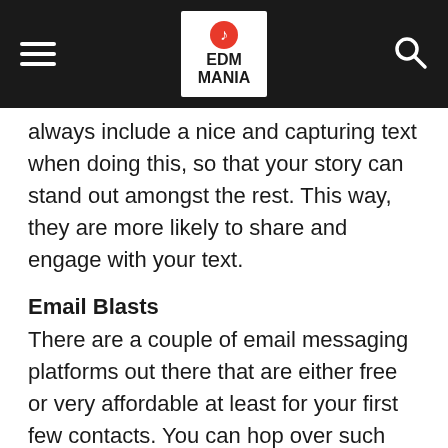EDM MANIA
always include a nice and capturing text when doing this, so that your story can stand out amongst the rest. This way, they are more likely to share and engage with your text.
Email Blasts
There are a couple of email messaging platforms out there that are either free or very affordable at least for your first few contacts. You can hop over such platforms and set up a campaign to as many email contacts you have. If you already have contacts in your Gmail, you can import from there into your mailchimp account and create a list. Put up a nice pitch about you and your genre, ask for follows. Hopefully, if done well, you just might get so lucky. This is usually an automated process, once you get used to the emailing platform.
Example of platforms you can leverage on is mailchimp…